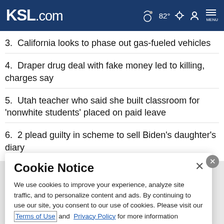KSL.com  82°  MENU
3. California looks to phase out gas-fueled vehicles
4. Draper drug deal with fake money led to killing, charges say
5. Utah teacher who said she built classroom for 'nonwhite students' placed on paid leave
6. 2 plead guilty in scheme to sell Biden's daughter's diary
Cookie Notice
We use cookies to improve your experience, analyze site traffic, and to personalize content and ads. By continuing to use our site, you consent to our use of cookies. Please visit our Terms of Use and  Privacy Policy for more information